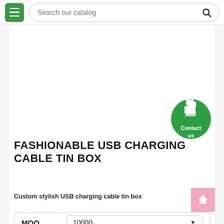Search our catalog
[Figure (screenshot): Product image area placeholder (white background)]
[Figure (illustration): Green circular Contact us button with chat icon]
FASHIONABLE USB CHARGING CABLE TIN BOX
Custom stylish USB charging cable tin box
| MOQ |  |
| --- | --- |
| MOQ | 10000 |